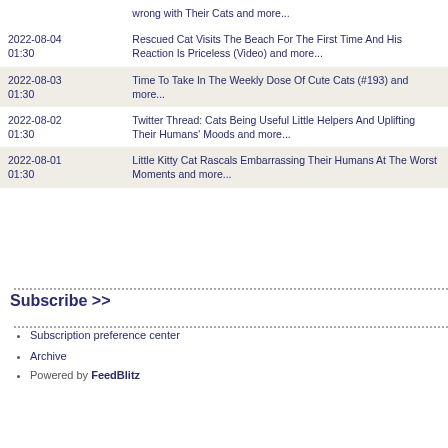| Date | Title |
| --- | --- |
| 2022-08-04 01:30 | Rescued Cat Visits The Beach For The First Time And His Reaction Is Priceless (Video) and more... |
| 2022-08-03 01:30 | Time To Take In The Weekly Dose Of Cute Cats (#193) and more... |
| 2022-08-02 01:30 | Twitter Thread: Cats Being Useful Little Helpers And Uplifting Their Humans' Moods and more... |
| 2022-08-01 01:30 | Little Kitty Cat Rascals Embarrassing Their Humans At The Worst Moments and more... |
Subscribe >>
Subscription preference center
Archive
Powered by FeedBlitz